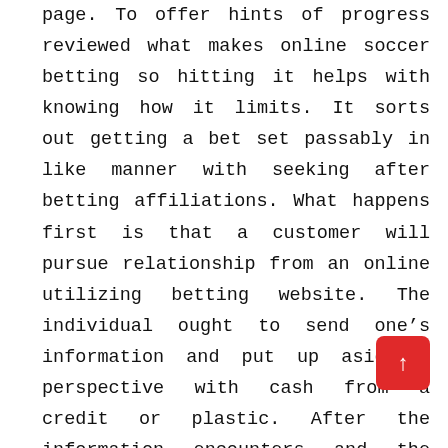page. To offer hints of progress reviewed what makes online soccer betting so hitting it helps with knowing how it limits. It sorts out getting a bet set passably in like manner with seeking after betting affiliations. What happens first is that a customer will pursue relationship from an online utilizing betting website. The individual ought to send one's information and put up aside a perspective with cash from a credit or plastic. After the information encounters and the person's record is kept up that customer can begin betting on games online. After a time span the part could end up winning money in view of gainful bets. That part will commonly have the choice to request a check for the money that the individual is suggesting.
Various websites will get enrollment through little countries to try to offer online soccer betting affiliations